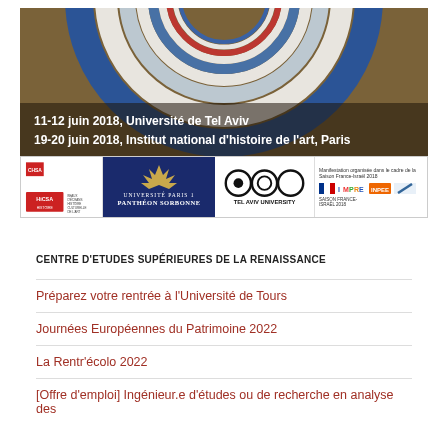[Figure (photo): Conference banner image showing a circular mosaic artwork in blue, white and red concentric rings with a crackled/aged texture, with text overlay showing conference dates and locations: '11-12 juin 2018, Université de Tel Aviv' and '19-20 juin 2018, Institut national d'histoire de l'art, Paris'. Below the image is a logo bar with institutional logos including HiCSA, Université Paris 1 Panthéon Sorbonne, Tel Aviv University, and other partner logos.]
CENTRE D'ETUDES SUPÉRIEURES DE LA RENAISSANCE
Préparez votre rentrée à l'Université de Tours
Journées Européennes du Patrimoine 2022
La Rentr'écolo 2022
[Offre d'emploi] Ingénieur.e d'études ou de recherche en analyse des